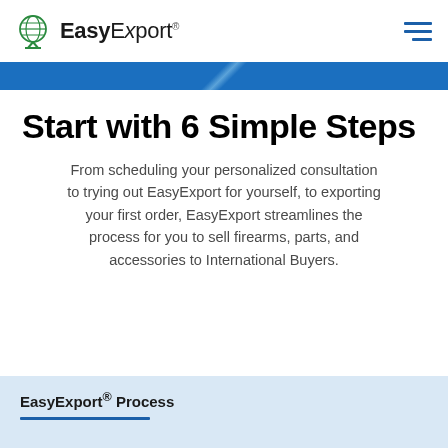EasyExport®
Start with 6 Simple Steps
From scheduling your personalized consultation to trying out EasyExport for yourself, to exporting your first order, EasyExport streamlines the process for you to sell firearms, parts, and accessories to International Buyers.
EasyExport® Process